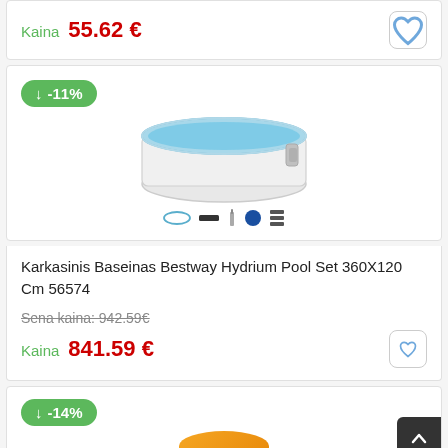Kaina 55.62 €
[Figure (photo): Round steel-frame pool - Karkasinis Baseinas Bestway Hydrium Pool Set 360X120 Cm 56574 with product icons below]
-11%
Karkasinis Baseinas Bestway Hydrium Pool Set 360X120 Cm 56574
Sena kaina: 942.59€
Kaina 841.59 €
-14%